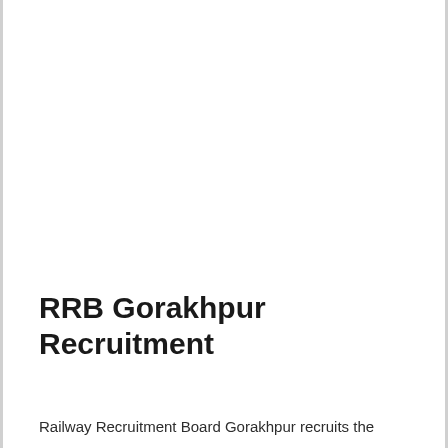RRB Gorakhpur Recruitment
Railway Recruitment Board Gorakhpur recruits the